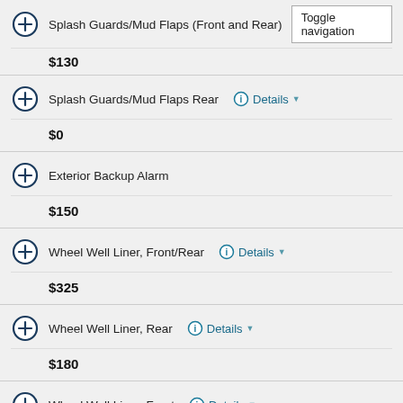Splash Guards/Mud Flaps (Front and Rear) $130
Splash Guards/Mud Flaps Rear Details $0
Exterior Backup Alarm $150
Wheel Well Liner, Front/Rear Details $325
Wheel Well Liner, Rear Details $180
Wheel Well Liner, Front Details